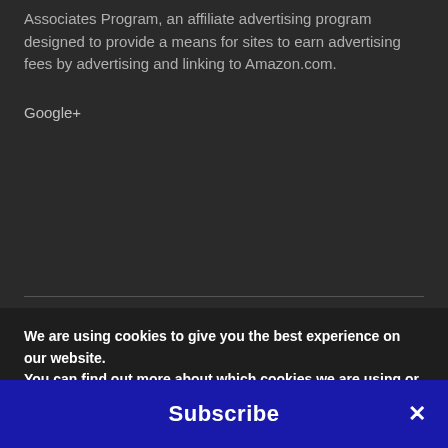Associates Program, an affiliate advertising program designed to provide a means for sites to earn advertising fees by advertising and linking to Amazon.com.
Google+
We are using cookies to give you the best experience on our website.
You can find out more about which cookies we are using or switch them off in settings.
Subscribe